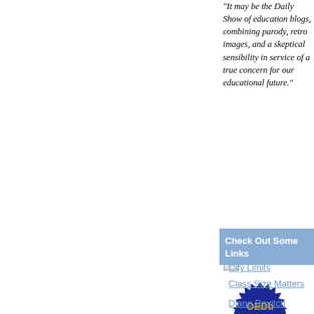"It may be the Daily Show of education blogs, combining parody, retro images, and a skeptical sensibility in service of a true concern for our educational future."
[Figure (photo): Small broken/placeholder image icon]
[Figure (illustration): OEDb Top 100 Blog badge - dark blue starburst/seal shape with gold text reading 'OEDb Top 100 Blog']
Check Out Some Links
City Limits
Class Size Matters
Diane Ravitch